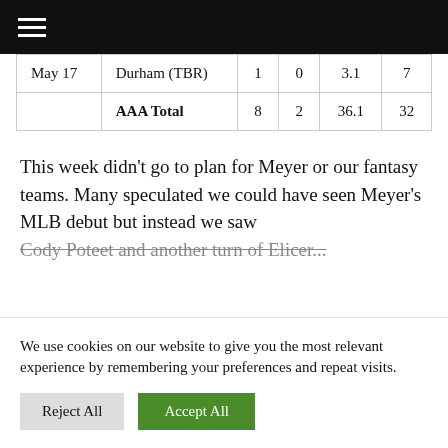| May 17 | Durham (TBR) | 1 | 0 | 3.1 | 7 |
|  | AAA Total | 8 | 2 | 36.1 | 32 |
This week didn't go to plan for Meyer or our fantasy teams. Many speculated we could have seen Meyer's MLB debut but instead we saw Cody Poteet another turn of Elicer...
We use cookies on our website to give you the most relevant experience by remembering your preferences and repeat visits.